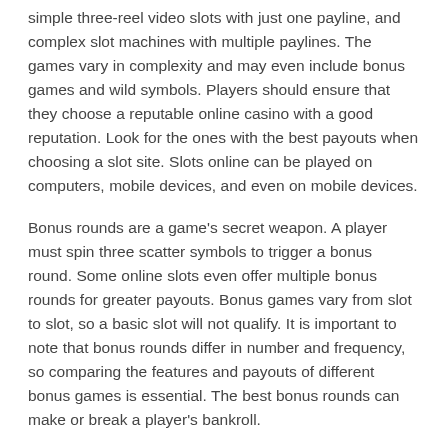simple three-reel video slots with just one payline, and complex slot machines with multiple paylines. The games vary in complexity and may even include bonus games and wild symbols. Players should ensure that they choose a reputable online casino with a good reputation. Look for the ones with the best payouts when choosing a slot site. Slots online can be played on computers, mobile devices, and even on mobile devices.
Bonus rounds are a game's secret weapon. A player must spin three scatter symbols to trigger a bonus round. Some online slots even offer multiple bonus rounds for greater payouts. Bonus games vary from slot to slot, so a basic slot will not qualify. It is important to note that bonus rounds differ in number and frequency, so comparing the features and payouts of different bonus games is essential. The best bonus rounds can make or break a player's bankroll.
Progressive jackpots are one of the most popular types of